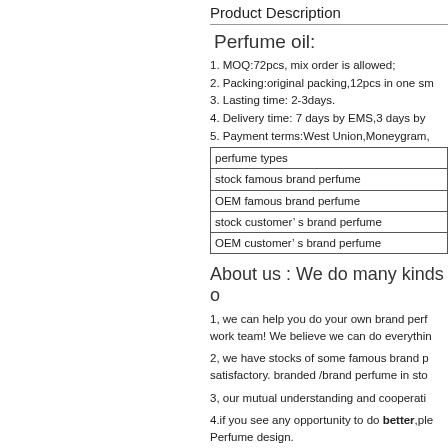Product Description
Perfume oil:
1. MOQ:72pcs, mix order is allowed;
2. Packing:original packing,12pcs in one sm
3. Lasting time: 2-3days.
4. Delivery time: 7 days by EMS,3 days by
5. Payment terms:West Union,Moneygram,
| perfume types |
| --- |
| stock famous brand perfume |
| OEM famous brand perfume |
| stock customer’ s brand perfume |
| OEM customer’ s brand perfume |
About us : We do many kinds o
1, we can help you do your own brand perf work team! We believe we can do everythin
2, we have stocks of some famous brand p satisfactory. branded /brand perfume in sto
3, our mutual understanding and cooperati
4.if you see any opportunity to do better,ple Perfume design.
5, the MOQ is 96 pcs for perfumes in stock,